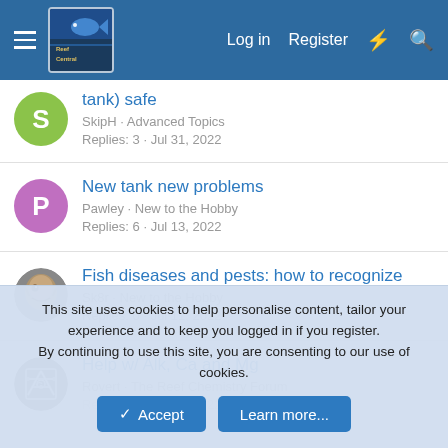Reef Central - Log in | Register
tank) safe — SkipH · Advanced Topics — Replies: 3 · Jul 31, 2022
New tank new problems — Pawley · New to the Hobby — Replies: 6 · Jul 13, 2022
Fish diseases and pests: how to recognize — Sk8r · New to the Hobby — Replies: 0 · Jul 11, 2022
Help w/ Alk, Ca and Mg — Rovert · The Reef Chemistry Forum — Replies: 2 · Jul 30, 2022
This site uses cookies to help personalise content, tailor your experience and to keep you logged in if you register.
By continuing to use this site, you are consenting to our use of cookies.